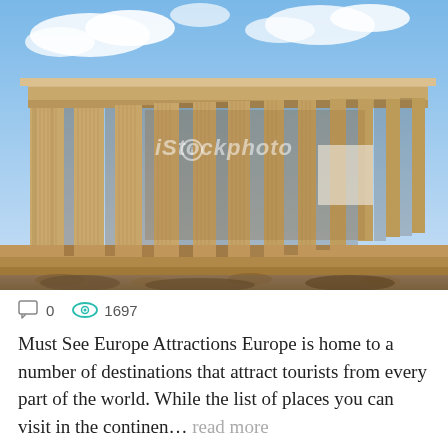[Figure (photo): Photo of the Parthenon in Athens, Greece, viewed from below at a dramatic angle showing ancient Greek columns against a blue sky with clouds. iStockphoto watermark visible.]
0   1697
Must See Europe Attractions Europe is home to a number of destinations that attract tourists from every part of the world. While the list of places you can visit in the continen…  read more